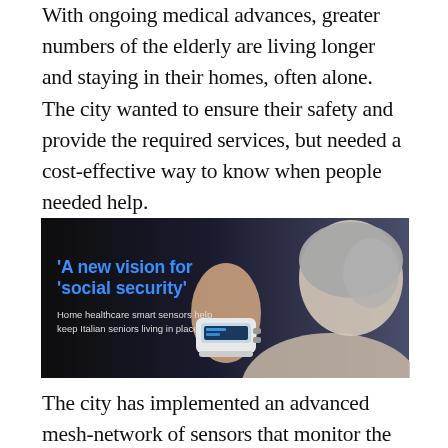With ongoing medical advances, greater numbers of the elderly are living longer and staying in their homes, often alone. The city wanted to ensure their safety and provide the required services, but needed a cost-effective way to know when people needed help.
[Figure (photo): Dark-background image showing an elderly person wearing a wrist blood pressure monitor. Text overlay reads: 'A new vision for social security' and 'Home healthcare smart sensors help keep Italian seniors living in place']
The city has implemented an advanced mesh-network of sensors that monitor the home environment – temperature, CO2, water leaks etc – of elderly citizens living alone. Remote